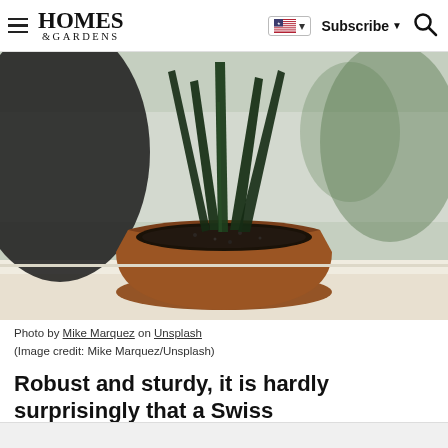Homes & Gardens — Subscribe | Search | Language selector
[Figure (photo): Close-up photo of a snake plant (Sansevieria) with dark green upright cylindrical leaves growing from a terracotta pot filled with dark soil, placed on a windowsill with natural light in the background.]
Photo by Mike Marquez on Unsplash
(Image credit: Mike Marquez/Unsplash)
Robust and sturdy, it is hardly surprisingly that a Swiss